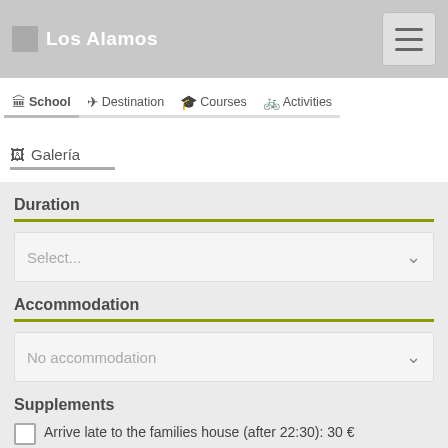Los Alamos
School
Destination
Courses
Activities
Galería
Duration
Select...
Accommodation
No accommodation
Supplements
Arrive late to the families house (after 22:30): 30 €
Total price
0 €